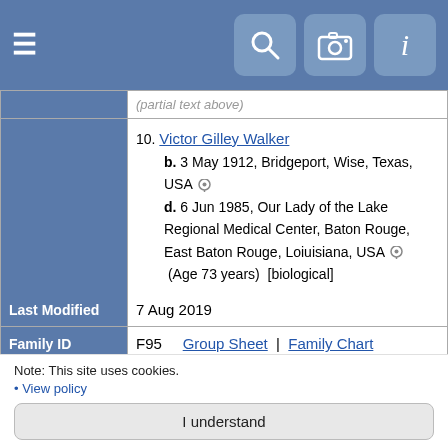Navigation bar with hamburger menu, search, camera, and info icons
10. Victor Gilley Walker
b. 3 May 1912, Bridgeport, Wise, Texas, USA
d. 6 Jun 1985, Our Lady of the Lake Regional Medical Center, Baton Rouge, East Baton Rouge, Loiuisiana, USA (Age 73 years) [biological]
| Last Modified | 7 Aug 2019 |
| --- | --- |
| Family ID | F95 | Group Sheet | | | Family Chart |
| --- | --- | --- | --- | --- |
[Figure (map): Event Map placeholder with 'Load the map' link and play button icon, with two map pins labeled 1 and 2 on the right side showing partial text]
Note: This site uses cookies.
• View policy
I understand